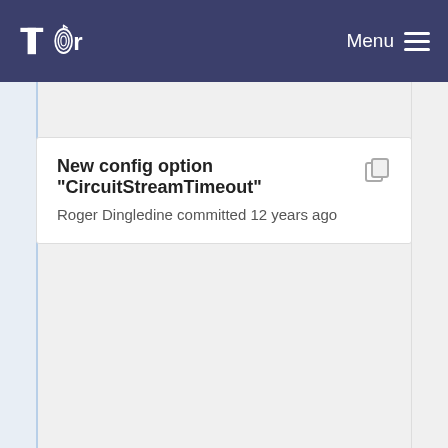Tor Menu
New config option "CircuitStreamTimeout"
Roger Dingledine committed 12 years ago